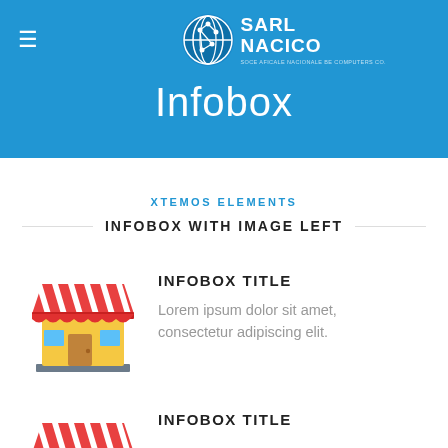SARL NACICO
Infobox
XTEMOS ELEMENTS
INFOBOX WITH IMAGE LEFT
[Figure (illustration): Flat icon of a market stall / shop with red and white awning, yellow walls, blue window, and brown door on a gray base.]
INFOBOX TITLE
Lorem ipsum dolor sit amet, consectetur adipiscing elit.
[Figure (illustration): Flat icon of a market stall / shop with red and white awning (partially visible, cropped at bottom).]
INFOBOX TITLE